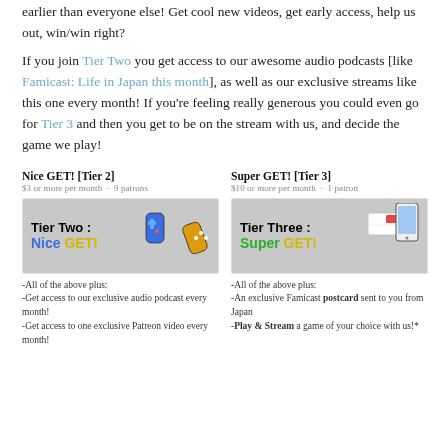earlier than everyone else! Get cool new videos, get early access, help us out, win/win right?
If you join Tier Two you get access to our awesome audio podcasts [like Famicast: Life in Japan this month], as well as our exclusive streams like this one every month! If you're feeling really generous you could even go for Tier 3 and then you get to be on the stream with us, and decide the game we play!
Nice GET! [Tier 2]
$3 or more per month · 9 patrons
[Figure (illustration): Gray banner image showing 'Tier Two: Nice GET!' in bold text with colorful game controller graphics]
-All of the above plus:
-Get access to our exclusive audio podcast every month!
-Get access to one exclusive Patreon video every month!
Super GET! [Tier 3]
$10 or more per month · 1 patron
[Figure (illustration): Gray banner image showing 'Tier Three: Super GET!' in bold text with phone/postcard graphics]
-All of the above plus:
-An exclusive Famicast postcard sent to you from Japan
-Play & Stream a game of your choice with us!*